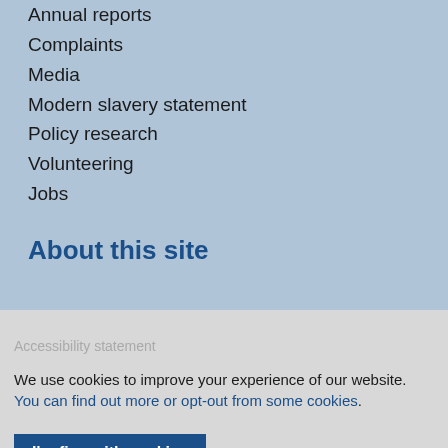Annual reports
Complaints
Media
Modern slavery statement
Policy research
Volunteering
Jobs
About this site
We use cookies to improve your experience of our website. You can find out more or opt-out from some cookies.
I'm fine with cookies